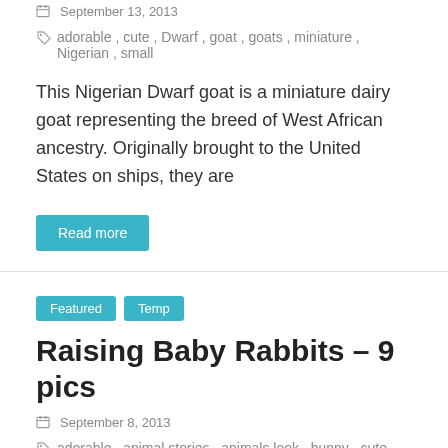September 13, 2013
adorable, cute, Dwarf, goat, goats, miniature, Nigerian, small
This Nigerian Dwarf goat is a miniature dairy goat representing the breed of West African ancestry. Originally brought to the United States on ships, they are
Read more
Featured  Temp
Raising Baby Rabbits – 9 pics
September 8, 2013
adorable, animal stories, animals look, bunny, cute, domestic animals, funny animals, help, how to, info, rabbit, raising
There are a lot of reasons for raising rabbits. No matter your reason you will have to raise baby rabbits and you